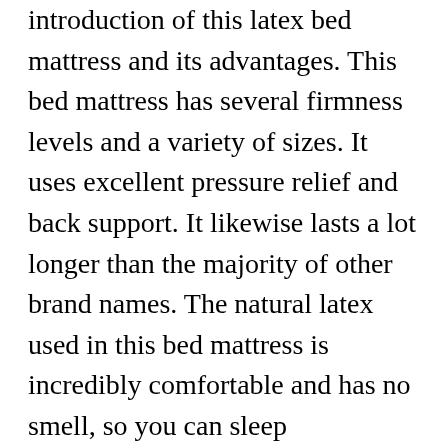introduction of this latex bed mattress and its advantages. This bed mattress has several firmness levels and a variety of sizes. It uses excellent pressure relief and back support. It likewise lasts a lot longer than the majority of other brand names. The natural latex used in this bed mattress is incredibly comfortable and has no smell, so you can sleep comfortably on it night after night.
The natural products utilized to produce the plush bed make it an exceptional option for vegans and people with wool allergies. The mattress is made from bamboo and